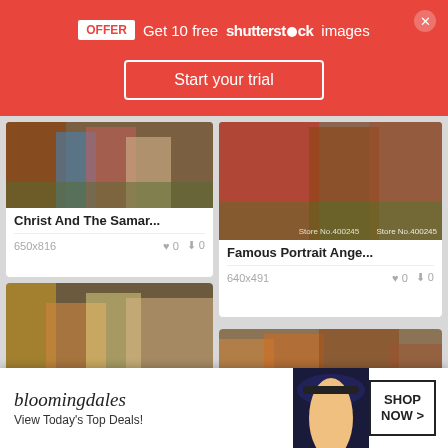[Figure (screenshot): Shutterstock promotional banner with red background: OFFER badge, 'Get 10 free shutterstock images', 'Start your trial' button, and close X button]
[Figure (photo): Painting thumbnail: Christ And The Samar... - religious painting]
Christ And The Samar...
650x816   ♥ 0   ⬇ 0
[Figure (photo): Painting thumbnail: Famous Portrait Ange... - portrait painting of Jesus and Mary Magdalene]
Famous Portrait Ange...
640x491   ♥ 0   ⬇ 0
[Figure (photo): Painting thumbnail: Filter... - classical painting with figures at a well]
[Figure (photo): Painting thumbnail: partial classical religious painting, with CLOSE button overlay]
[Figure (screenshot): Bloomingdales advertisement banner: logo, 'View Today's Top Deals!', model with hat, SHOP NOW button]